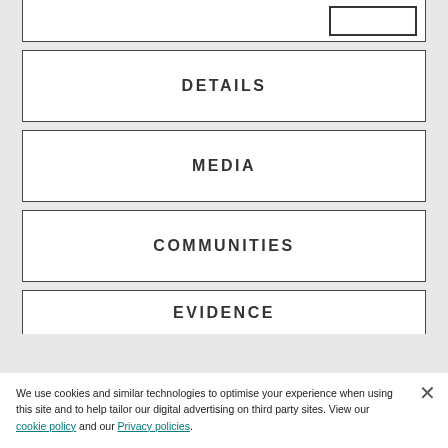[Figure (screenshot): Partial top white panel with a small bordered box in the upper right corner]
DETAILS
MEDIA
COMMUNITIES
EVIDENCE
We use cookies and similar technologies to optimise your experience when using this site and to help tailor our digital advertising on third party sites. View our cookie policy and our Privacy policies.